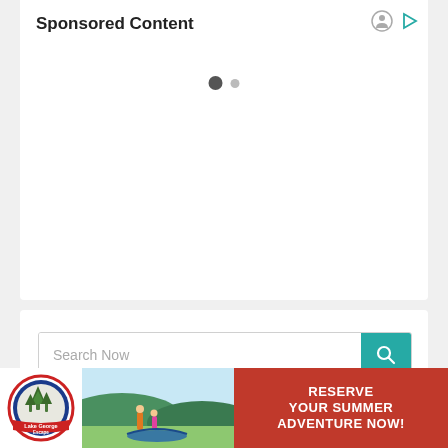Sponsored Content
[Figure (other): Pagination dots: one large dark filled circle and one smaller gray circle]
[Figure (other): Search bar with placeholder text 'Search Now' and teal search button with magnifying glass icon]
[Figure (other): Lake George scenic banner advertisement with text 'See why we're BEST OF LAKE GEORGE!' over a mountain lake landscape]
[Figure (other): Bottom advertisement strip: Lake George Escape logo on left, photo of people with canoe in middle, red CTA area on right with text 'RESERVE YOUR SUMMER ADVENTURE NOW!']